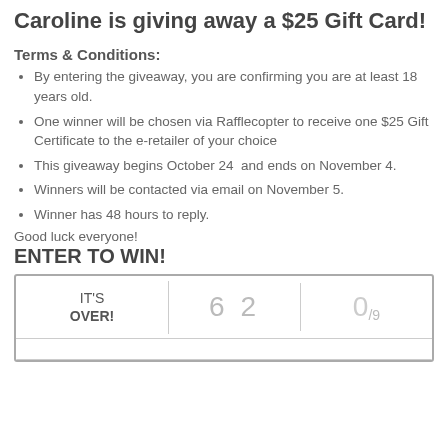Caroline is giving away a $25 Gift Card!
Terms & Conditions:
By entering the giveaway, you are confirming you are at least 18 years old.
One winner will be chosen via Rafflecopter to receive one $25 Gift Certificate to the e-retailer of your choice
This giveaway begins October 24  and ends on November 4.
Winners will be contacted via email on November 5.
Winner has 48 hours to reply.
Good luck everyone!
ENTER TO WIN!
|  |  |  |
| --- | --- | --- |
| IT'S OVER! | 6 2 | 0/9 |
|  |  |  |